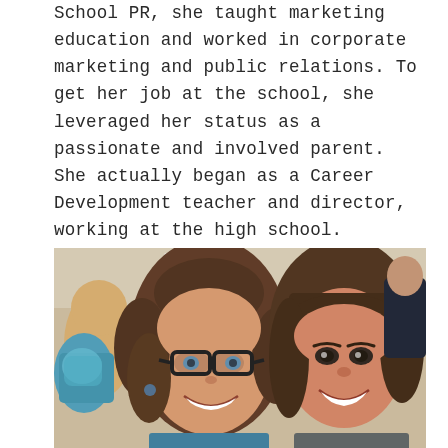School PR, she taught marketing education and worked in corporate marketing and public relations. To get her job at the school, she leveraged her status as a passionate and involved parent. She actually began as a Career Development teacher and director, working at the high school.
[Figure (photo): Two smiling women posing together for a selfie in what appears to be a school or event setting. The woman on the left has curly brown hair and black-framed glasses; the woman on the right has straight brown hair with bangs.]